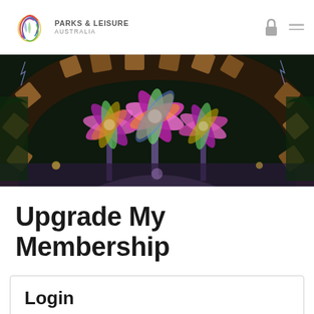Parks & Leisure Australia
[Figure (photo): Nighttime photo of illuminated colorful flower-shaped sculptures under a wooden arch structure in a park setting]
Upgrade My Membership
Login